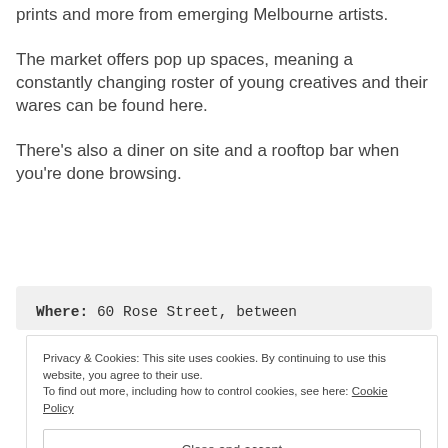prints and more from emerging Melbourne artists.
The market offers pop up spaces, meaning a constantly changing roster of young creatives and their wares can be found here.
There’s also a diner on site and a rooftop bar when you’re done browsing.
Where:  60 Rose Street, between
Privacy & Cookies: This site uses cookies. By continuing to use this website, you agree to their use.
To find out more, including how to control cookies, see here: Cookie Policy
Close and accept